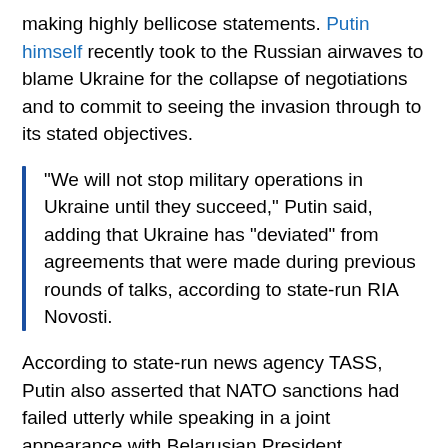making highly bellicose statements. Putin himself recently took to the Russian airwaves to blame Ukraine for the collapse of negotiations and to commit to seeing the invasion through to its stated objectives.
“We will not stop military operations in Ukraine until they succeed,” Putin said, adding that Ukraine has “deviated” from agreements that were made during previous rounds of talks, according to state-run RIA Novosti.
According to state-run news agency TASS, Putin also asserted that NATO sanctions had failed utterly while speaking in a joint appearance with Belarusian President Alexander Lukashenko.
“That Blitzkrieg on which our foes were counting on did not work,” Putin claimed of the West’s crippling